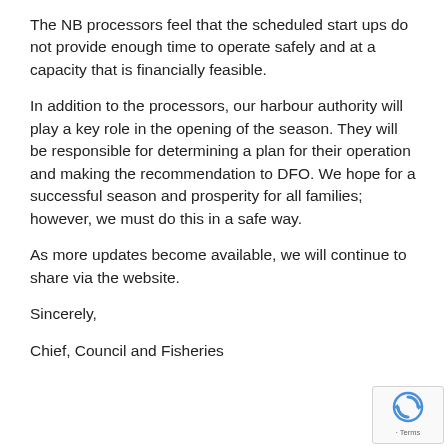The NB processors feel that the scheduled start ups do not provide enough time to operate safely and at a capacity that is financially feasible.
In addition to the processors, our harbour authority will play a key role in the opening of the season. They will be responsible for determining a plan for their operation and making the recommendation to DFO. We hope for a successful season and prosperity for all families; however, we must do this in a safe way.
As more updates become available, we will continue to share via the website.
Sincerely,
Chief, Council and Fisheries
[Figure (other): reCAPTCHA badge with logo and Terms link in bottom-right corner]